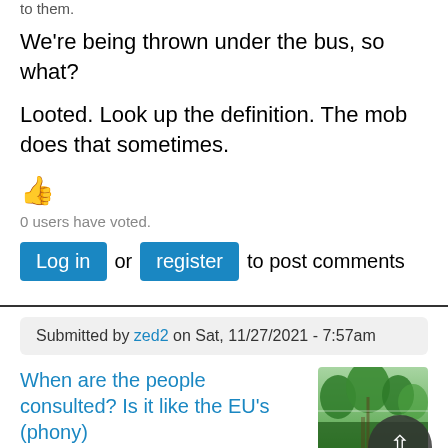to them.
We're being thrown under the bus, so what?
Looted. Look up the definition. The mob does that sometimes.
[Figure (other): Thumbs up emoji]
0 users have voted.
Log in or register to post comments
Submitted by zed2 on Sat, 11/27/2021 - 7:57am
When are the people consulted? Is it like the EU's (phony)
[Figure (photo): Green forest/nature thumbnail image with a circular back-arrow button overlay]
"consulations" on trade deals.
Whose outcvomes are pre-rigged.Actually everyting